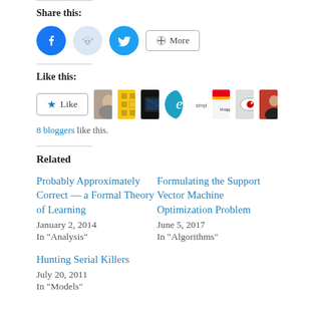Share this:
[Figure (other): Social share buttons: Facebook (blue circle), Reddit (light blue circle), Twitter (cyan circle), More button]
Like this:
[Figure (other): Like button widget with 8 blogger avatars]
8 bloggers like this.
Related
Probably Approximately Correct — a Formal Theory of Learning
January 2, 2014
In "Analysis"
Formulating the Support Vector Machine Optimization Problem
June 5, 2017
In "Algorithms"
Hunting Serial Killers
July 20, 2011
In "Models"